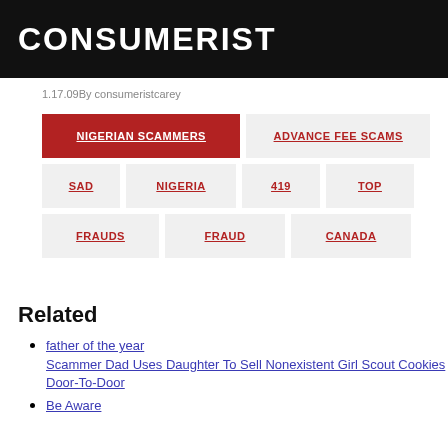CONSUMERIST
1.17.09By consumeristcarey
NIGERIAN SCAMMERS | ADVANCE FEE SCAMS | SAD | NIGERIA | 419 | TOP | FRAUDS | FRAUD | CANADA
Related
father of the year Scammer Dad Uses Daughter To Sell Nonexistent Girl Scout Cookies Door-To-Door
Be Aware